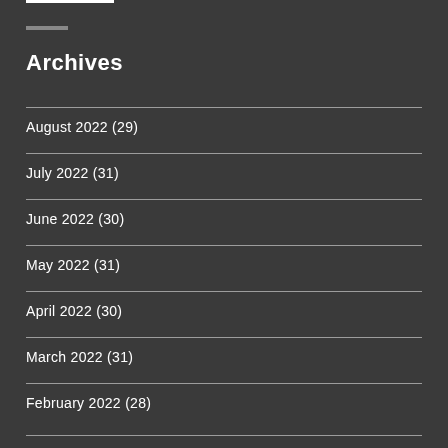Archives
August 2022 (29)
July 2022 (31)
June 2022 (30)
May 2022 (31)
April 2022 (30)
March 2022 (31)
February 2022 (28)